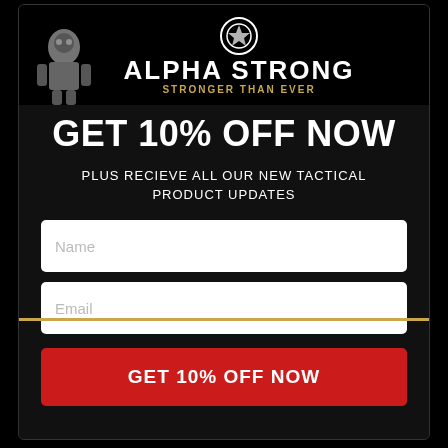[Figure (logo): Alpha Strong logo with robot figure on left, circular badge icon, brand name ALPHA STRONG and tagline STRONGER THAN EVER in gold]
GET 10% OFF NOW
PLUS RECIEVE ALL OUR NEW TACTICAL PRODUCT UPDATES
Name
Email
GET 10% OFF NOW